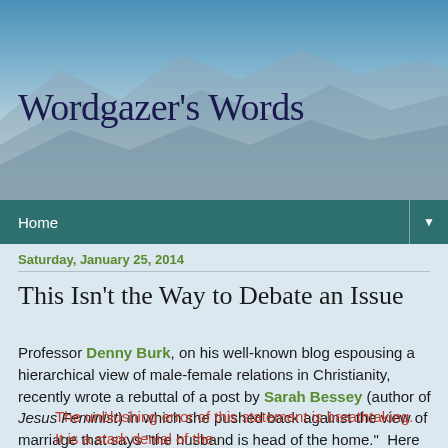[Figure (illustration): Blog header with mountain landscape background in blue-grey tones]
Wordgazer's Words
Home
Saturday, January 25, 2014
This Isn't the Way to Debate an Issue
Professor Denny Burk, on his well-known blog espousing a hierarchical view of male-female relations in Christianity, recently wrote a rebuttal of a post by Sarah Bessey (author of Jesus Feminist) in which she pushed back against the view of marriage that says "the husband is head of the home."  Here is a series of quotes from Burk's article that highlights the general stance he took:
The unblushing error of this statement is breathtaking. It is a stark denial of the